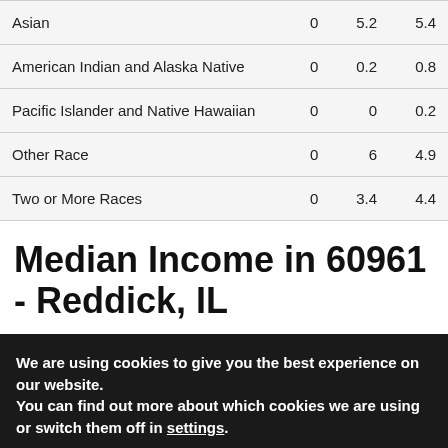|  |  |  |  |
| --- | --- | --- | --- |
| Asian | 0 | 5.2 | 5.4 |
| American Indian and Alaska Native | 0 | 0.2 | 0.8 |
| Pacific Islander and Native Hawaiian | 0 | 0 | 0.2 |
| Other Race | 0 | 6 | 4.9 |
| Two or More Races | 0 | 3.4 | 4.4 |
Median Income in 60961 - Reddick, IL
We are using cookies to give you the best experience on our website.
You can find out more about which cookies we are using or switch them off in settings.